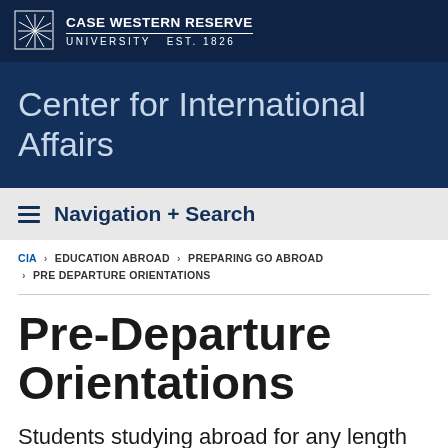[Figure (logo): Case Western Reserve University logo with sunburst icon and university name]
Center for International Affairs
Navigation + Search
CIA › EDUCATION ABROAD › PREPARING GO ABROAD › PRE DEPARTURE ORIENTATIONS
Pre-Departure Orientations
Students studying abroad for any length of time must attend at least one orientation: a